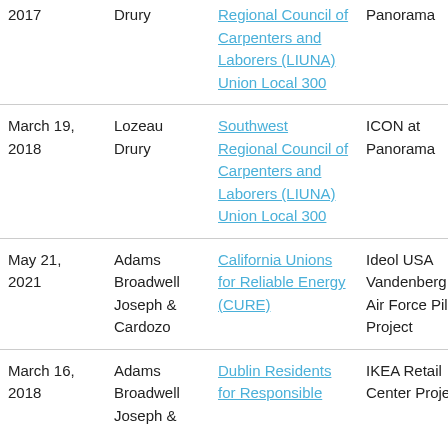| Date | Firm | Client | Project | Type |
| --- | --- | --- | --- | --- |
| 2017 [partial] | Drury | Regional Council of Carpenters and Laborers (LIUNA) Union Local 300 | Panorama |  |
| March 19, 2018 | Lozeau Drury | Southwest Regional Council of Carpenters and Laborers (LIUNA) Union Local 300 | ICON at Panorama | FEIR Comm... |
| May 21, 2021 | Adams Broadwell Joseph & Cardozo | California Unions for Reliable Energy (CURE) | Ideol USA Vandenberg Air Force Pilot Project | Public Record Request |
| March 16, 2018 | Adams Broadwell Joseph & | Dublin Residents for Responsible | IKEA Retail Center Project | DSEIR Com... |